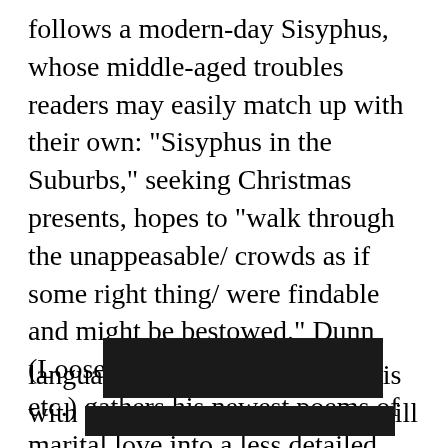follows a modern-day Sisyphus, whose middle-aged troubles readers may easily match up with their own: "Sisyphus in the Suburbs," seeking Christmas presents, hopes to "walk through the unappeasable/ crowds as if some right thing/ were findable and might be bestowed." Dunn (Loosestrife, Between Angels, etc.) gathers his newest poems of marital love into a less detailed, perhaps more personal second section ("Best to have a partner whose desire matches yours"). The third and most ambitious sequence imagines a queue of "Great Nineteenth-Century Writers" in the poet's own contemporary South Jersey. These poems merge the chosen writers' favorite themes and phrases into Dunn's own quiet, demotic langua is with will